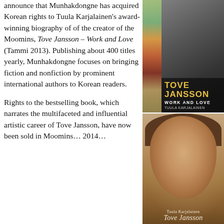announce that Munhakdongne has acquired Korean rights to Tuula Karjalainen's award-winning biography of of the creator of the Moomins, Tove Jansson – Work and Love (Tammi 2013). Publishing about 400 titles yearly, Munhakdongne focuses on bringing fiction and nonfiction by prominent international authors to Korean readers.

Rights to the bestselling book, which narrates the multifaceted and influential artistic career of Tove Jansson, have now been sold in…
[Figure (photo): Book cover of 'Tove Jansson – Work and Love' by Tuula Karjalainen, showing a black and white photo of a woman in a studio with a colorful illustrated strip on the left side and golden title text on dark background]
[Figure (photo): Sepia-toned portrait photograph of young Tove Jansson with cursive title text 'Tove Jansson' and author name 'Tuula Karjalainen' at the bottom]